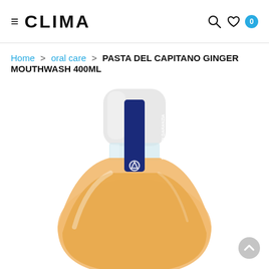≡ CLIMA
Home > oral care > PASTA DEL CAPITANO GINGER MOUTHWASH 400ML
[Figure (photo): Product photo of Pasta del Capitano Ginger Mouthwash 400ml bottle. A round clear bottle with an amber/orange liquid, topped with a rounded white cap. A dark navy blue tamper-evident seal strip with white text 'SIGILLO DI GARANZIA' runs vertically across the cap and bottle neck, with the brand logo at the bottom of the strip.]